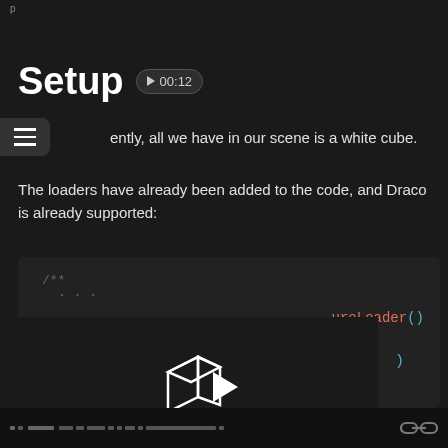Setup  ▶ 00:12
ently, all we have in our scene is a white cube.
The loaders have already been added to the code, and Draco is already supported:
[Figure (screenshot): Code editor dark background showing a JSDoc comment block starting with /** and code with ureLoader() and closing parenthesis, overlaid with a 3D cube play button icon in the center]